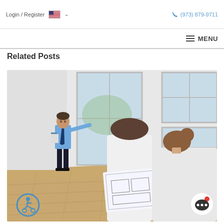Login / Register  🇺🇸 ∨   (973) 879-9711
≡ MENU
Related Posts
[Figure (photo): A real estate agent in a blue shirt and tie pointing at a white wall in an empty room with hardwood floors and large windows, while a couple seen from behind holds a floor plan blueprint and looks toward the agent.]